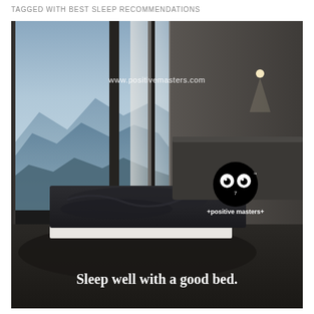TAGGED WITH BEST SLEEP RECOMMENDATIONS
[Figure (photo): Modern minimalist bedroom with floor-to-ceiling windows showing a misty mountain view at dusk. Dark bedding on a platform bed, sheer curtains, recessed lighting. Overlay text: www.positivemasters.com and a +positive masters+ logo. Bottom caption: Sleep well with a good bed.]